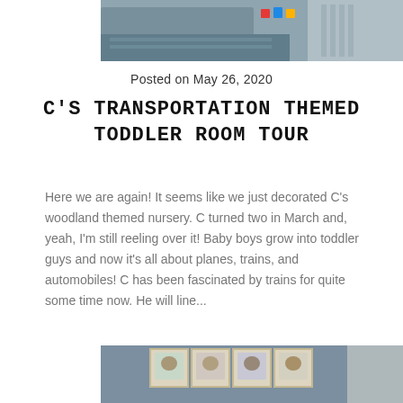[Figure (photo): Top portion of a toddler bedroom photo showing a grey bed with colorful toys and a striped pillow/blanket]
Posted on May 26, 2020
C'S TRANSPORTATION THEMED TODDLER ROOM TOUR
Here we are again! It seems like we just decorated C's woodland themed nursery. C turned two in March and, yeah, I'm still reeling over it! Baby boys grow into toddler guys and now it's all about planes, trains, and automobiles! C has been fascinated by trains for quite some time now. He will line...
[Figure (photo): Bottom portion showing a grey wall with a grid of animal portrait prints in light wooden frames arranged in two rows of four]